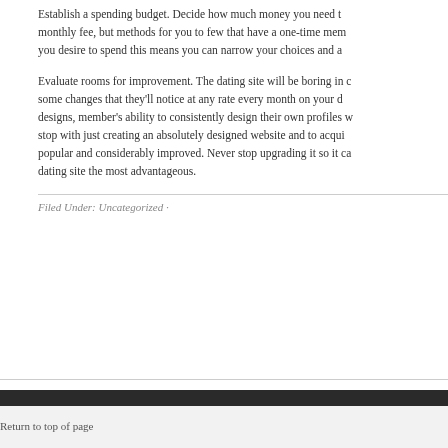Establish a spending budget. Decide how much money you need to monthly fee, but methods for you to few that have a one-time mem you desire to spend this means you can narrow your choices and a
Evaluate rooms for improvement. The dating site will be boring in c some changes that they'll notice at any rate every month on your d designs, member's ability to consistently design their own profiles w stop with just creating an absolutely designed website and to acqui popular and considerably improved. Never stop upgrading it so it c dating site the most advantageous.
Filed Under: Uncategorized ·
Return to top of page